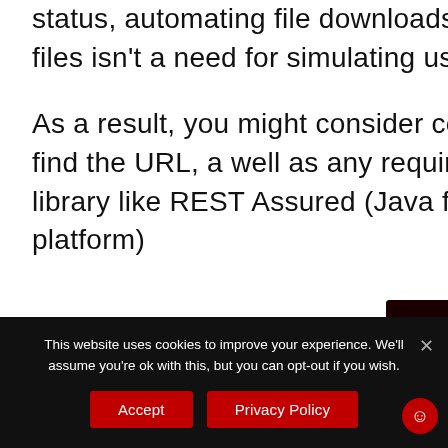status, automating file downloads through the UI isn't ideal. Downloading files isn't a need for simulating user interaction with the online platform.
As a result, you might consider completing the workaround: use Selenium to find the URL, as well as any required cookies, and feed it to a HTTP request library like REST Assured (Java), fetch (JavaScript), or libcurl (cross-platform)
This website uses cookies to improve your experience. We'll assume you're ok with this, but you can opt-out if you wish.